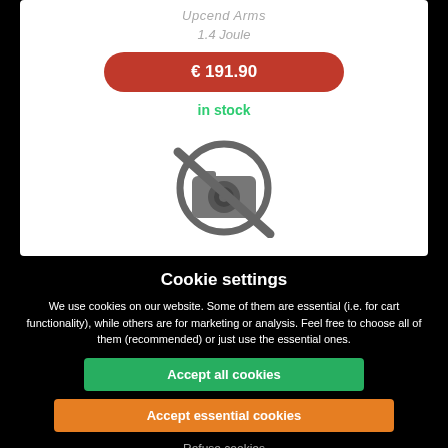Upcend Arms
1.4 Joule
€ 191.90
in stock
[Figure (illustration): No image available icon — camera symbol with a diagonal slash through it, rendered in dark gray]
Cookie settings
We use cookies on our website. Some of them are essential (i.e. for cart functionality), while others are for marketing or analysis. Feel free to choose all of them (recommended) or just use the essential ones.
Accept all cookies
Accept essential cookies
Refuse cookies